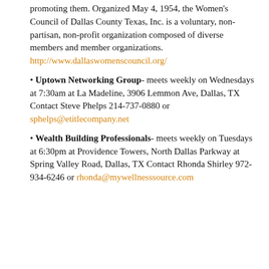promoting them. Organized May 4, 1954, the Women's Council of Dallas County Texas, Inc. is a voluntary, non-partisan, non-profit organization composed of diverse members and member organizations. http://www.dallaswomenscouncil.org/
• Uptown Networking Group- meets weekly on Wednesdays at 7:30am at La Madeline, 3906 Lemmon Ave, Dallas, TX  Contact Steve Phelps 214-737-0880 or sphelps@etitlecompany.net
• Wealth Building Professionals- meets weekly on Tuesdays at 6:30pm at Providence Towers, North Dallas Parkway at Spring Valley Road, Dallas, TX Contact Rhonda Shirley 972-934-6246 or rhonda@mywellnesssource.com